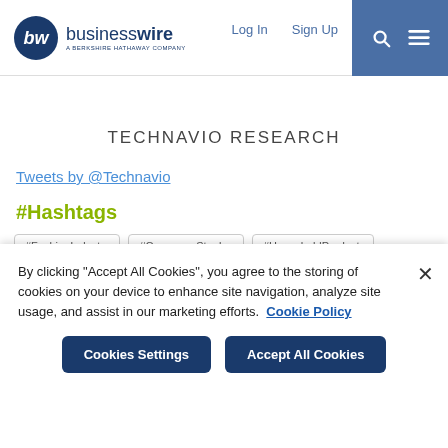businesswire — A BERKSHIRE HATHAWAY COMPANY | Log In | Sign Up
TECHNAVIO RESEARCH
Tweets by @Technavio
#Hashtags
#FashionIndustry  #ConsumerStaples  #HouseholdProducts
By clicking "Accept All Cookies", you agree to the storing of cookies on your device to enhance site navigation, analyze site usage, and assist in our marketing efforts. Cookie Policy
Cookies Settings  Accept All Cookies